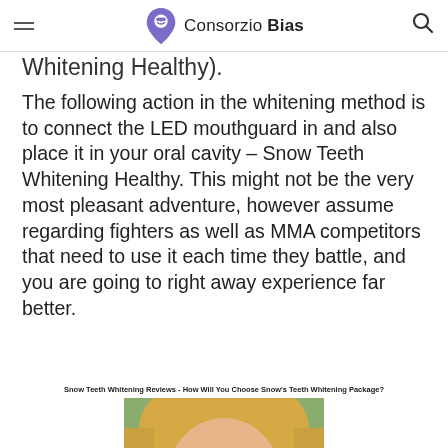Consorzio Bias
Whitening Healthy).
The following action in the whitening method is to connect the LED mouthguard in and also place it in your oral cavity – Snow Teeth Whitening Healthy. This might not be the very most pleasant adventure, however assume regarding fighters as well as MMA competitors that need to use it each time they battle, and you are going to right away experience far better.
Snow Teeth Whitening Reviews - How Will You Choose Snow's Teeth Whitening Package?
[Figure (photo): Close-up photo of a woman smiling showing white teeth, blonde hair, outdoor background]
Irrespective of whether it is a house husband or a working lady, since the dawn of the revolution, looking presentable has become a major thing for anyone.As the products from Snow are all clinically tested, you must get yourself an adequate dentist check-up ahead of getting hold of the Snow teeth whitening products.
Learn More:
https://www.crunchbase.com/organization/snow-teeth-whitening